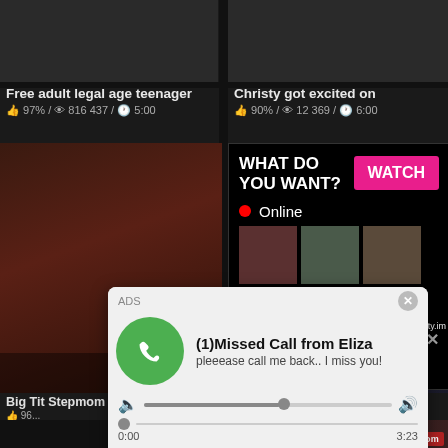Free adult legal age teenager
👍 97% / 👁 816 437 / 🕐 5:00
Christy got excited on
👍 90% / 👁 12 369 / 🕐 6:00
[Figure (screenshot): Adult video thumbnail - woman]
WHAT DO YOU WANT?
WATCH
Online
Cumming, ass fucking, squirt or...
• ADS
Big Tit Stepmom Makes Her
(Valentina Nappi) Hot Busty
ADS
(1)Missed Call from Eliza
pleeease call me back.. I miss you!
0:00
3:23
HardLesbos.com